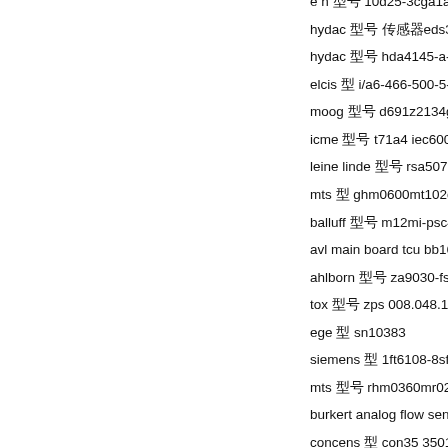e h 型号 10d25-3cga1aa099aa
hydac 型号 传感器eds344-2-016-000
hydac 型号 hda4145-a-010-000-f1
elcis 型 i/a6-466-500-5-bz-n-cv-r-0
moog 型号 d691z2134g type:q20dba
icme 型号 t71a4 iec60034
leine linde 型号 rsa507 529481-01-1
mts 型 ghm0600mt102dea
balluff 型号 m12mi-psc40b-dv02
avl main board tcu bb1650sp
ahlborn 型号 za9030-fs2  pt100-2   n
tox 型号 zps 008.048.115.002 81kn
ege 型 sn10383
siemens 型 1ft6108-8sf71-1fg0 d86
mts 型号 rhm0360mr021a01/fnv:10
burkert analog flow sensor 8025 d
concens 型 con35 350150-7173xx
e h 型号 cld134-pmv538ab2
moog 型号 d631-3005b